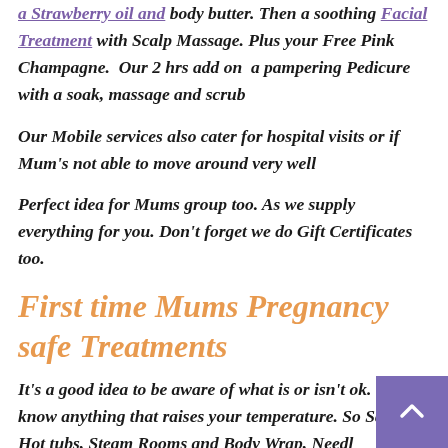a Strawberry oil and body butter. Then a soothing Facial Treatment with Scalp Massage. Plus your Free Pink Champagne.  Our 2 hrs add on  a pampering Pedicure with a soak, massage and scrub
Our Mobile services also cater for hospital visits or if Mum's not able to move around very well
Perfect idea for Mums group too. As we supply everything for you. Don't forget we do Gift Certificates too.
First time Mums Pregnancy safe Treatments
It's a good idea to be aware of what is or isn't ok. You know anything that raises your temperature. So Saun Hot tubs, Steam Rooms and Body Wrap, Needl...